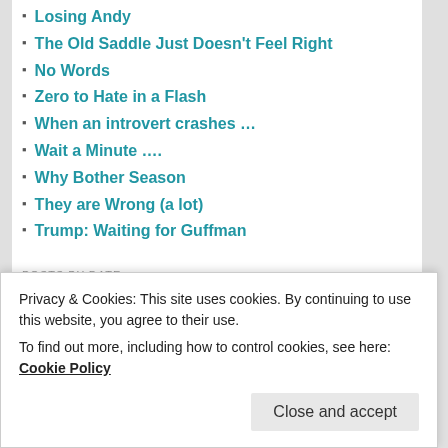Losing Andy
The Old Saddle Just Doesn't Feel Right
No Words
Zero to Hate in a Flash
When an introvert crashes …
Wait a Minute ….
Why Bother Season
They are Wrong (a lot)
Trump: Waiting for Guffman
POSTS BY DATE
| M | T | W | T | F | S | S |
| --- | --- | --- | --- | --- | --- | --- |
Privacy & Cookies: This site uses cookies. By continuing to use this website, you agree to their use.
To find out more, including how to control cookies, see here: Cookie Policy